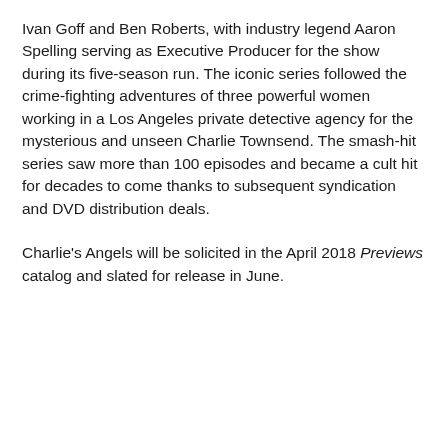Ivan Goff and Ben Roberts, with industry legend Aaron Spelling serving as Executive Producer for the show during its five-season run. The iconic series followed the crime-fighting adventures of three powerful women working in a Los Angeles private detective agency for the mysterious and unseen Charlie Townsend. The smash-hit series saw more than 100 episodes and became a cult hit for decades to come thanks to subsequent syndication and DVD distribution deals.
Charlie's Angels will be solicited in the April 2018 Previews catalog and slated for release in June.